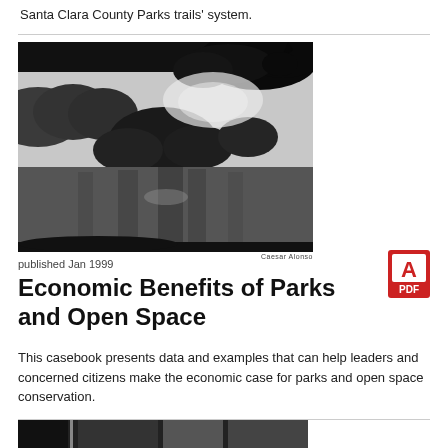Santa Clara County Parks trails' system.
[Figure (photo): Black and white photograph of a lake with trees and reflections on calm water, credited to Cesar Alonso]
Cesar Alonso
published Jan 1999
[Figure (logo): Adobe PDF icon (red A with PDF label)]
Economic Benefits of Parks and Open Space
This casebook presents data and examples that can help leaders and concerned citizens make the economic case for parks and open space conservation.
[Figure (photo): Partial black and white photograph visible at bottom of page]